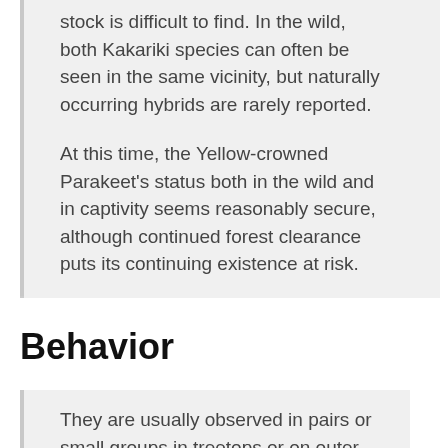stock is difficult to find. In the wild, both Kakariki species can often be seen in the same vicinity, but naturally occurring hybrids are rarely reported.
At this time, the Yellow-crowned Parakeet's status both in the wild and in captivity seems reasonably secure, although continued forest clearance puts its continuing existence at risk.
Behavior
They are usually observed in pairs or small groups in treetops or on outer